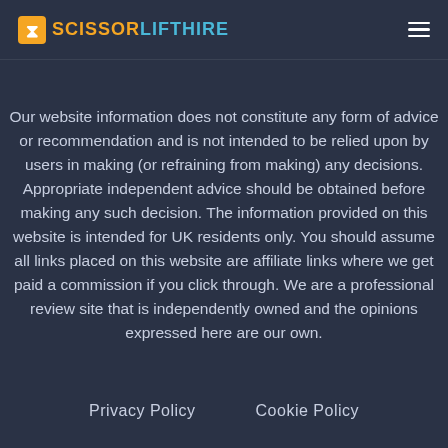SCISSORLIFTHIRE
Our website information does not constitute any form of advice or recommendation and is not intended to be relied upon by users in making (or refraining from making) any decisions. Appropriate independent advice should be obtained before making any such decision. The information provided on this website is intended for UK residents only. You should assume all links placed on this website are affiliate links where we get paid a commission if you click through. We are a professional review site that is independently owned and the opinions expressed here are our own.
Privacy Policy   Cookie Policy